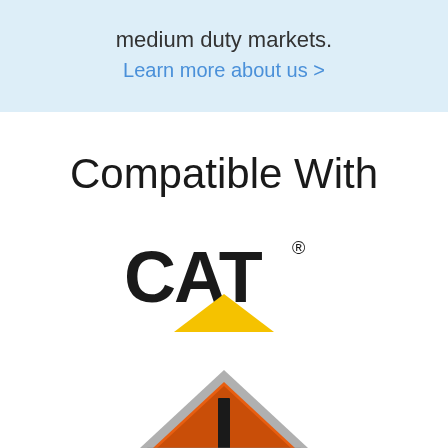medium duty markets.
Learn more about us >
Compatible With
[Figure (logo): CAT (Caterpillar) logo with bold black text 'CAT' and registered trademark symbol, with a yellow triangle/chevron below]
[Figure (logo): International Trucks diamond-shaped logo with orange background, silver border, and 'INTERNATIONAL' text, with registered trademark symbol]